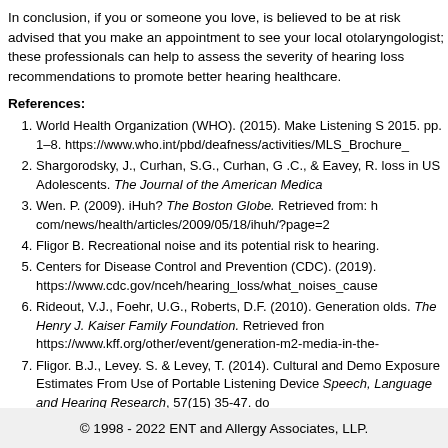In conclusion, if you or someone you love, is believed to be at risk advised that you make an appointment to see your local otolaryngologist; these professionals can help to assess the severity of hearing loss recommendations to promote better hearing healthcare.
References:
World Health Organization (WHO). (2015). Make Listening Safe. 2015. pp. 1–8. https://www.who.int/pbd/deafness/activities/MLS_Brochure_
Shargorodsky, J., Curhan, S.G., Curhan, G .C., & Eavey, R. loss in US Adolescents. The Journal of the American Medica
Wen. P. (2009). iHuh? The Boston Globe. Retrieved from: h com/news/health/articles/2009/05/18/ihuh/?page=2
Fligor B. Recreational noise and its potential risk to hearing.
Centers for Disease Control and Prevention (CDC). (2019). https://www.cdc.gov/nceh/hearing_loss/what_noises_cause
Rideout, V.J., Foehr, U.G., Roberts, D.F. (2010). Generation olds. The Henry J. Kaiser Family Foundation. Retrieved from https://www.kff.org/other/event/generation-m2-media-in-the-
Fligor. B.J., Levey. S. & Levey, T. (2014). Cultural and Demo Exposure Estimates From Use of Portable Listening Device Speech, Language and Hearing Research, 57(15) 35-47. do
© 1998 - 2022 ENT and Allergy Associates, LLP.